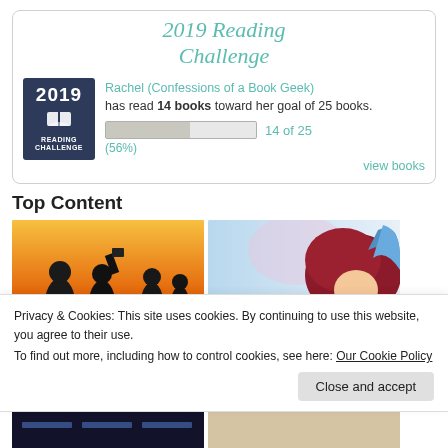2019 Reading Challenge
Rachel (Confessions of a Book Geek) has read 14 books toward her goal of 25 books.
14 of 25
(56%)
view books
Top Content
[Figure (photo): Orange background with black silhouettes of people reading books]
[Figure (illustration): Blue and light background with red-haired animated character]
Privacy & Cookies: This site uses cookies. By continuing to use this website, you agree to their use.
To find out more, including how to control cookies, see here: Our Cookie Policy
Close and accept